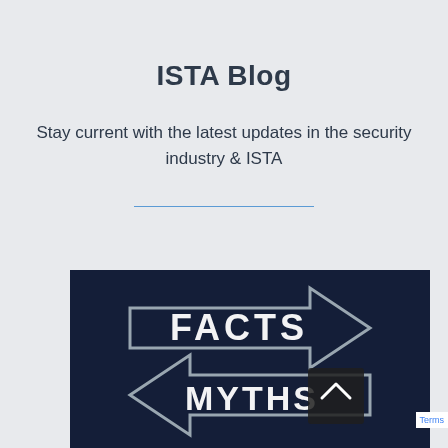ISTA Blog
Stay current with the latest updates in the security industry & ISTA
[Figure (photo): Dark chalkboard background with chalk-drawn arrow signs pointing in opposite directions, one labeled 'FACTS' pointing right and one labeled 'MYTHS' pointing left, representing facts vs myths concept.]